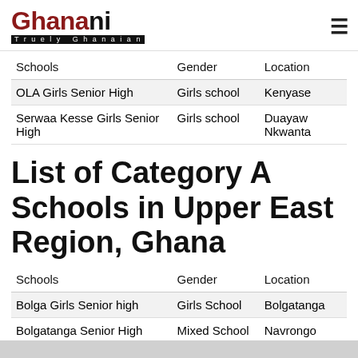Ghanani — Truely Ghanaian
| Schools | Gender | Location |
| --- | --- | --- |
| OLA Girls Senior High | Girls school | Kenyase |
| Serwaa Kesse Girls Senior High | Girls school | Duayaw Nkwanta |
List of Category A Schools in Upper East Region, Ghana
| Schools | Gender | Location |
| --- | --- | --- |
| Bolga Girls Senior high | Girls School | Bolgatanga |
| Bolgatanga Senior High | Mixed School | Navrongo |